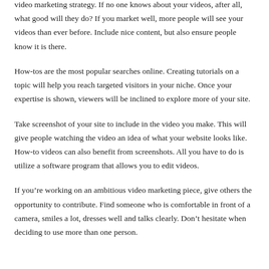video marketing strategy. If no one knows about your videos, after all, what good will they do? If you market well, more people will see your videos than ever before. Include nice content, but also ensure people know it is there.
How-tos are the most popular searches online. Creating tutorials on a topic will help you reach targeted visitors in your niche. Once your expertise is shown, viewers will be inclined to explore more of your site.
Take screenshot of your site to include in the video you make. This will give people watching the video an idea of what your website looks like. How-to videos can also benefit from screenshots. All you have to do is utilize a software program that allows you to edit videos.
If you’re working on an ambitious video marketing piece, give others the opportunity to contribute. Find someone who is comfortable in front of a camera, smiles a lot, dresses well and talks clearly. Don’t hesitate when deciding to use more than one person.